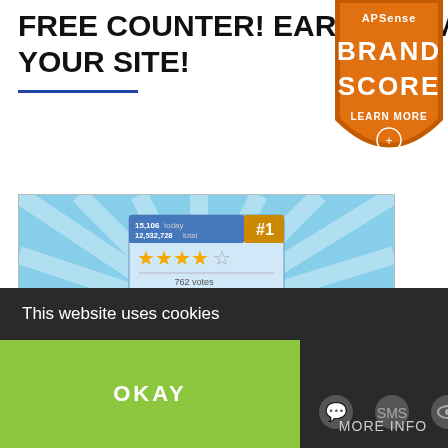FREE COUNTER! EARN PROM YOUR SITE!
[Figure (logo): APSense Brand Score badge - orange shield shape with text APSense, BRAND SCORE, LEARN MORE]
[Figure (screenshot): Website counter widget showing 15,106 today, 12,532,728 total, ranked #1, 4.5 stars, 762 votes, 231 user reviews, Powered by RelmaxTop, on a blue sky background with sun rays]
This website uses cookies
OKAY
MORE INFO